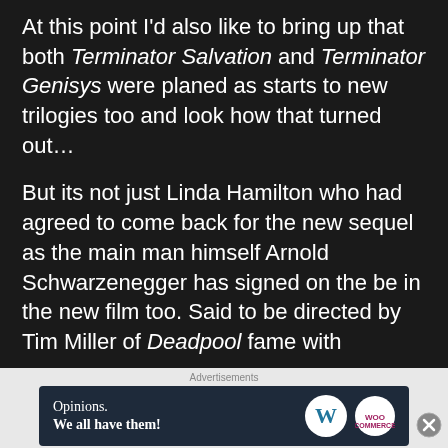At this point I'd also like to bring up that both Terminator Salvation and Terminator Genisys were planed as starts to new trilogies too and look how that turned out…
But its not just Linda Hamilton who had agreed to come back for the new sequel as the main man himself Arnold Schwarzenegger has signed on the be in the new film too. Said to be directed by Tim Miller of Deadpool fame with
Advertisements
[Figure (other): Advertisement banner for WordPress and WooCommerce reading 'Opinions. We all have them!' with WordPress and WooCommerce logos on dark navy background]